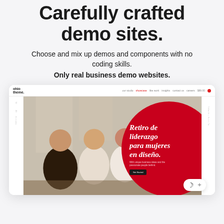Carefully crafted demo sites.
Choose and mix up demos and components with no coding skills.
Only real business demo websites.
[Figure (screenshot): Screenshot of Ohio theme demo website showing a browser window with a website featuring people in a workspace and a red circle overlay with text 'Retiro de liderazgo para mujeres en diseño.' with a Get Started button. Dark/light mode toggle visible in bottom right.]